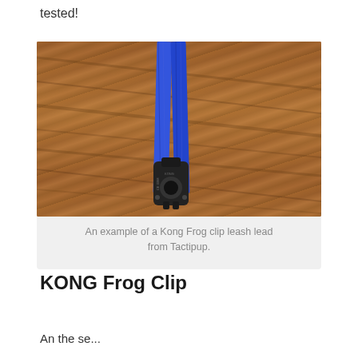tested!
[Figure (photo): A blue Kong Frog clip leash (sling with a dark metal clip/device) laid against a wooden log background.]
An example of a Kong Frog clip leash lead from Tactipup.
KONG Frog Clip
An the se...